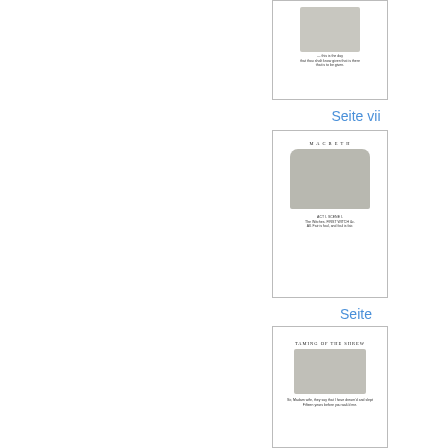[Figure (illustration): Thumbnail of a book page showing an illustration of figures and a caption below, topped thumbnail]
Seite vii
[Figure (illustration): Thumbnail of Macbeth title page with illustration of dramatic scene and caption text]
Seite
[Figure (illustration): Thumbnail of Taming of the Shrew title page with illustration of figures at a table and caption text]